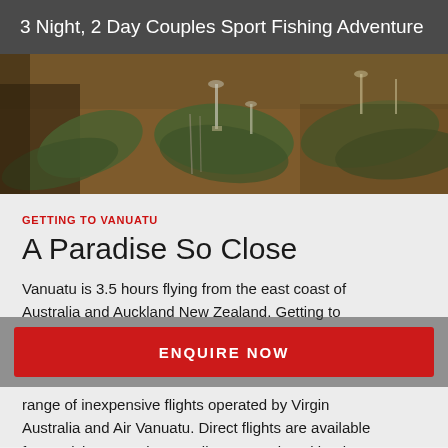3 Night, 2 Day Couples Sport Fishing Adventure
[Figure (photo): A table setting with green tropical leaf placemats, glassware, and cutlery on a wooden table in a restaurant or resort setting.]
GETTING TO VANUATU
A Paradise So Close
Vanuatu is 3.5 hours flying from the east coast of Australia and Auckland New Zealand. Getting to
ENQUIRE NOW
range of inexpensive flights operated by Virgin Australia and Air Vanuatu. Direct flights are available from Brisbane, Sydney, Melbourne and Auckland to